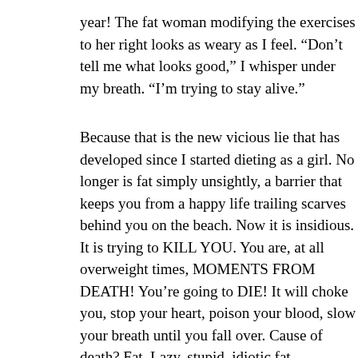year! The fat woman modifying the exercises to her right looks as weary as I feel. “Don’t tell me what looks good,” I whisper under my breath. “I’m trying to stay alive.”
Because that is the new vicious lie that has developed since I started dieting as a girl. No longer is fat simply unsightly, a barrier that keeps you from a happy life trailing scarves behind you on the beach. Now it is insidious. It is trying to KILL YOU. You are, at all overweight times, MOMENTS FROM DEATH! You’re going to DIE! It will choke you, stop your heart, poison your blood, slow your breath until you fall over. Cause of death? Fat. Lazy, stupid, idiotic fat accumulating on your lazy, stupid, idiotic body. You’re not smart enough, strong enough, dedicated